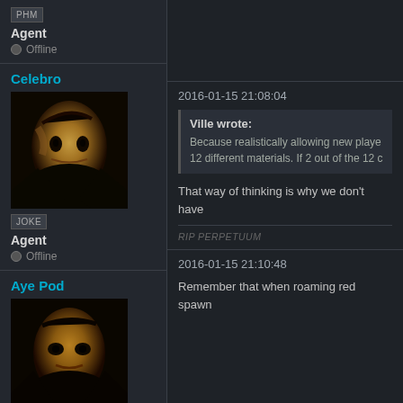PHM
Agent
Offline
Celebro
[Figure (illustration): 3D rendered avatar of a humanoid face with dark skin and dramatic shading, wearing dark clothing]
JOKE
Agent
Offline
2016-01-15 21:08:04
Ville wrote: Because realistically allowing new playe... 12 different materials. If 2 out of the 12 c...
That way of thinking is why we don't have
RIP PERPETUUM
Aye Pod
[Figure (illustration): 3D rendered avatar of a humanoid face with brown skin tones]
2016-01-15 21:10:48
Remember that when roaming red spawn